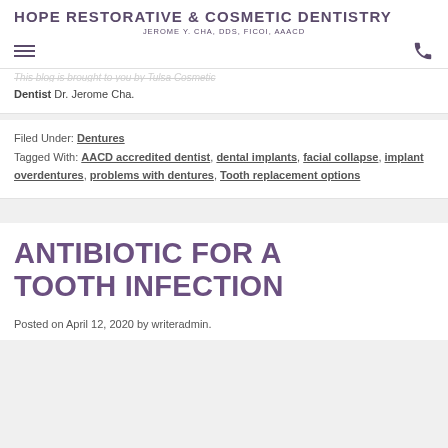HOPE RESTORATIVE & COSMETIC DENTISTRY
JEROME Y. CHA, DDS, FICOI, AAACD
This blog is brought to you by Tulsa Cosmetic Dentist Dr. Jerome Cha.
Filed Under: Dentures
Tagged With: AACD accredited dentist, dental implants, facial collapse, implant overdentures, problems with dentures, Tooth replacement options
ANTIBIOTIC FOR A TOOTH INFECTION
Posted on April 12, 2020 by writeradmin.